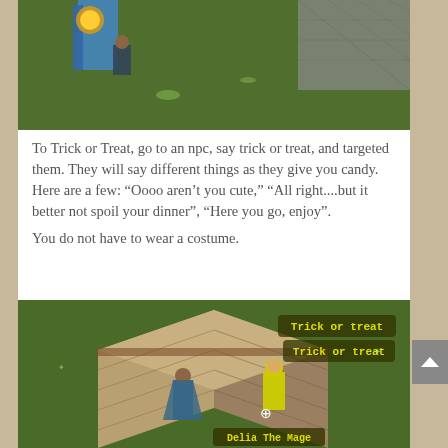[Figure (screenshot): Top portion of an isometric RPG game screenshot showing green grass terrain, stone wall structures, and game characters/objects]
To Trick or Treat, go to an npc, say trick or treat, and targeted them. They will say different things as they give you candy. Here are a few: “Oooo aren’t you cute,” “All right....but it better not spoil your dinner”, “Here you go, enjoy”.
You do not have to wear a costume.
[Figure (screenshot): Isometric RPG game screenshot showing characters near a stone building on green grass. Yellow speech bubbles read 'Trick or treat' twice. A yellow-robed character stands near a character labeled 'Delia The Mage'.]